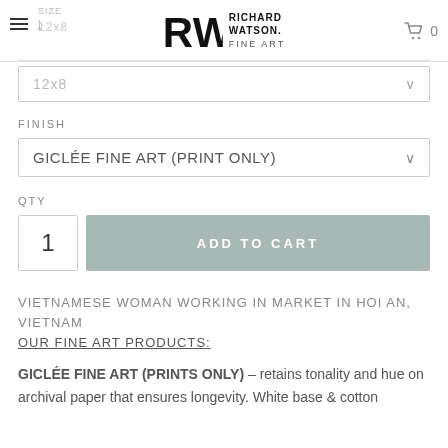Richard Watson Fine Art - website header with logo, hamburger menu, cart icon showing 0
FINISH
GICLÉE FINE ART (PRINT ONLY)
QTY
1
ADD TO CART
VIETNAMESE WOMAN WORKING IN MARKET IN HOI AN, VIETNAM
OUR FINE ART PRODUCTS:
GICLÉE FINE ART (PRINTS ONLY) – retains tonality and hue on archival paper that ensures longevity. White base & cotton